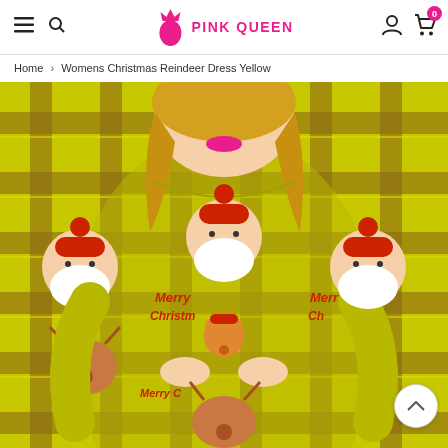Pink Queen — Navigation header with menu, search, logo, user icon, and cart (0 items)
Home › Womens Christmas Reindeer Dress Yellow
[Figure (photo): Woman wearing a yellow plaid Christmas dress featuring Santa Claus and reindeer cartoon prints with 'Merry Christmas' text. She is holding a small Christmas ornament teddy bear. The dress has 3/4 sleeves and a round neckline.]